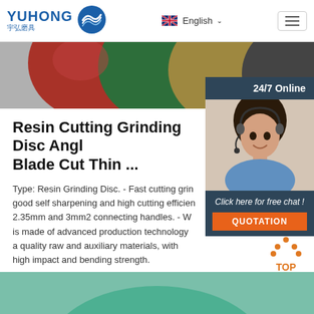YUHONG 宇弘磨具 | English
[Figure (photo): Product strip showing colorful resin grinding discs in red, green, tan, and dark colors]
Resin Cutting Grinding Disc Angl Blade Cut Thin ...
Type: Resin Grinding Disc. - Fast cutting grin good self sharpening and high cutting efficien 2.35mm and 3mm2 connecting handles. - W is made of advanced production technology a quality raw and auxiliary materials, with high impact and bending strength.
[Figure (photo): Customer service representative with headset – 24/7 Online chat sidebar with quotation button]
Get Price
[Figure (other): TOP scroll-to-top button with orange dots arrow icon]
[Figure (photo): Bottom strip showing green grinding disc]